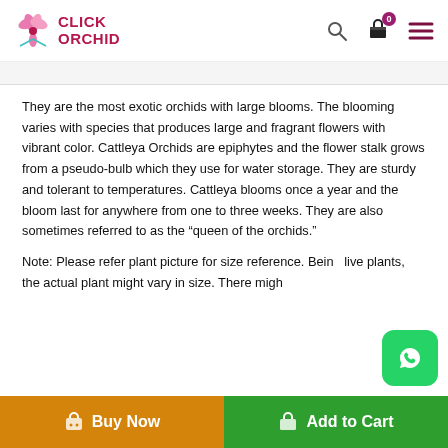CLICK ORCHID
They are the most exotic orchids with large blooms. The blooming varies with species that produces large and fragrant flowers with vibrant color. Cattleya Orchids are epiphytes and the flower stalk grows from a pseudo-bulb which they use for water storage. They are sturdy and tolerant to temperatures. Cattleya blooms once a year and the bloom last for anywhere from one to three weeks. They are also sometimes referred to as the “queen of the orchids.”
Note: Please refer plant picture for size reference. Being live plants, the actual plant might vary in size. There might